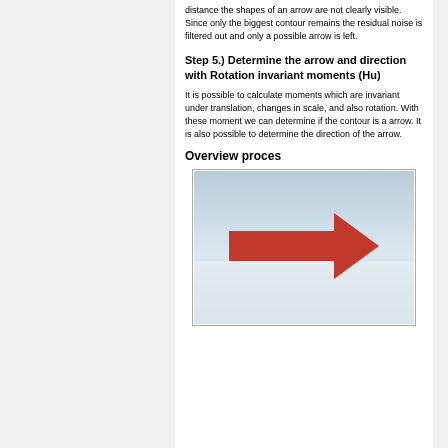distance the shapes of an arrow are not clearly visible. Since only the biggest contour remains the residual noise is filtered out and only a possible arrow is left.
Step 5.) Determine the arrow and direction with Rotation invariant moments (Hu)
It is possible to calculate moments which are invariant under translation, changes in scale, and also rotation. With these moment we can determine if the contour is a arrow. It is also possible to determine the direction of the arrow.
Overview proces
[Figure (photo): A photograph showing a red right-pointing arrow on a light/white background, framed with a light border.]